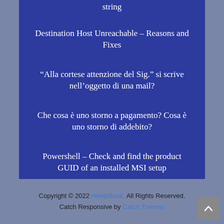string
Destination Host Unreachable – Reasons and Fixes
“Alla cortese attenzione del Sig.” si scrive nell’oggetto di una mail?
Che cosa è uno storno a pagamento? Cosa è uno storno di addebito?
Powershell – Check and find the product GUID of an installed MSI setup
Copyright © 2022 HeelpBook. All Rights Reserved. Catch Responsive by Catch Themes